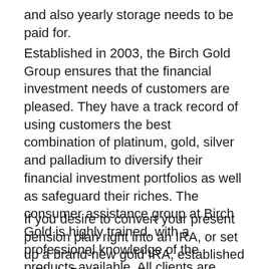and also yearly storage needs to be paid for.
Established in 2003, the Birch Gold Group ensures that the financial investment needs of customers are pleased. They have a track record of using customers the best combination of platinum, gold, silver and palladium to diversify their financial investment portfolios as well as safeguard their riches. The consumer assistance group at Birch Gold is highly trained, with a professional knowledge of the products available. All clients are assisted though every stage of the process.
If you desire to convert your present pension plan right into an IRA, or set up a brand-new gold IRA, established a Birch Gold account as